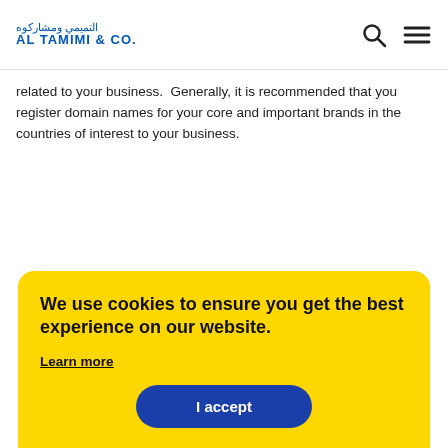AL TAMIMI & CO.
related to your business.  Generally, it is recommended that you register domain names for your core and important brands in the countries of interest to your business.
We use cookies to ensure you get the best experience on our website.

Learn more

I accept